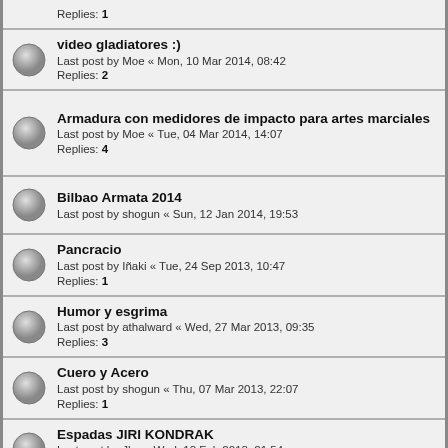Replies: 1
video gladiatores :)
Last post by Moe « Mon, 10 Mar 2014, 08:42
Replies: 2
Armadura con medidores de impacto para artes marciales
Last post by Moe « Tue, 04 Mar 2014, 14:07
Replies: 4
Bilbao Armata 2014
Last post by shogun « Sun, 12 Jan 2014, 19:53
Pancracio
Last post by Iñaki « Tue, 24 Sep 2013, 10:47
Replies: 1
Humor y esgrima
Last post by athalward « Wed, 27 Mar 2013, 09:35
Replies: 3
Cuero y Acero
Last post by shogun « Thu, 07 Mar 2013, 22:07
Replies: 1
Espadas JIRI KONDRAK
Last post by Jhn « Wed, 13 Feb 2013, 21:54
Replies: 8
En estas fechas...
Last post by Goiko « Mon, 24 Dec 2012, 10:46
Replies: 2